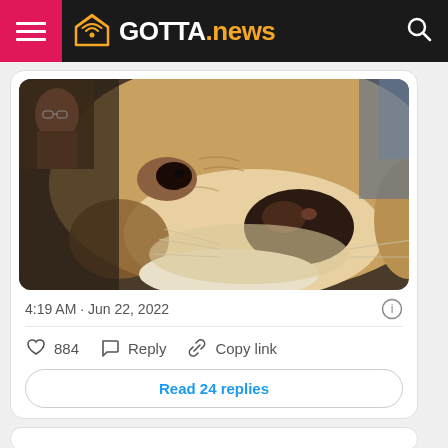GOTTA.news
[Figure (photo): Close-up photo of a dog (beagle-type) face looking at camera, with a human figure visible in background top-left]
4:19 AM · Jun 22, 2022
884   Reply   Copy link
Read 24 replies